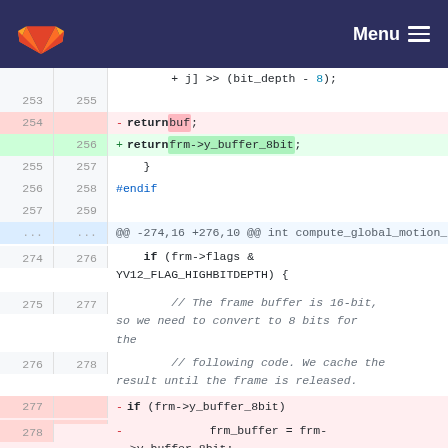GitLab logo | Menu
Code diff view showing lines 253-279, with changes to return statement and if/buffer logic in compute_global_motion_feature_based function